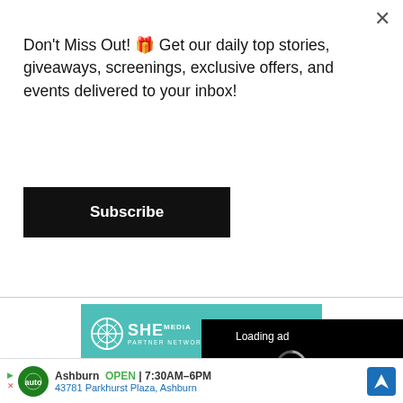Don't Miss Out! 🎁 Get our daily top stories, giveaways, screenings, exclusive offers, and events delivered to your inbox!
Subscribe
[Figure (screenshot): SHE Media Partner Network banner with teal background, logo and 'BECOME A MEMBER' button]
[Figure (screenshot): Video player overlay showing 'Loading ad' text, spinner icon, and playback controls (pause, expand, mute)]
[Figure (screenshot): Partial SHE Media ad showing a woman with curly hair and glasses, text 'WE HELP GROW BU...' and 'LEARN MORE']
Ashburn OPEN 7:30AM–6PM 43781 Parkhurst Plaza, Ashburn